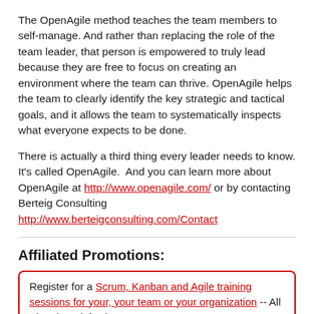The OpenAgile method teaches the team members to self-manage. And rather than replacing the role of the team leader, that person is empowered to truly lead because they are free to focus on creating an environment where the team can thrive. OpenAgile helps the team to clearly identify the key strategic and tactical goals, and it allows the team to systematically inspects what everyone expects to be done.
There is actually a third thing every leader needs to know. It's called OpenAgile.  And you can learn more about OpenAgile at http://www.openagile.com/ or by contacting Berteig Consulting http://www.berteigconsulting.com/Contact
Affiliated Promotions:
Register for a Scrum, Kanban and Agile training sessions for your, your team or your organization -- All Virtual! Satisfaction